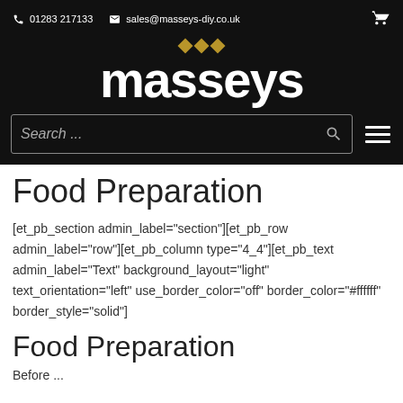01283 217133  sales@masseys-diy.co.uk
[Figure (logo): Masseys DIY logo with three gold diamonds above bold white 'masseys' text on black background]
Search ...
Food Preparation
[et_pb_section admin_label="section"][et_pb_row admin_label="row"][et_pb_column type="4_4"][et_pb_text admin_label="Text" background_layout="light" text_orientation="left" use_border_color="off" border_color="#ffffff" border_style="solid"]
Food Preparation
Before ...